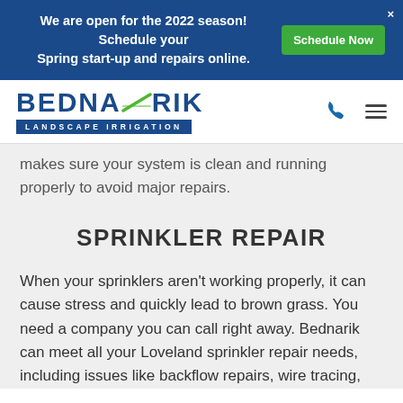We are open for the 2022 season! Schedule your Spring start-up and repairs online. Schedule Now
[Figure (logo): Bednarik Landscape Irrigation logo with phone and menu icons]
makes sure your system is clean and running properly to avoid major repairs.
SPRINKLER REPAIR
When your sprinklers aren't working properly, it can cause stress and quickly lead to brown grass. You need a company you can call right away. Bednarik can meet all your Loveland sprinkler repair needs, including issues like backflow repairs, wire tracing,